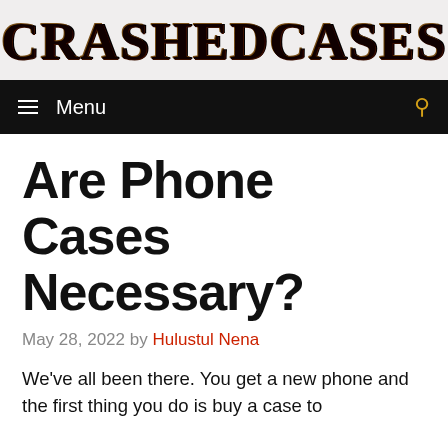CrashedCases
≡ Menu
Are Phone Cases Necessary?
May 28, 2022 by Hulustul Nena
We've all been there. You get a new phone and the first thing you do is buy a case to